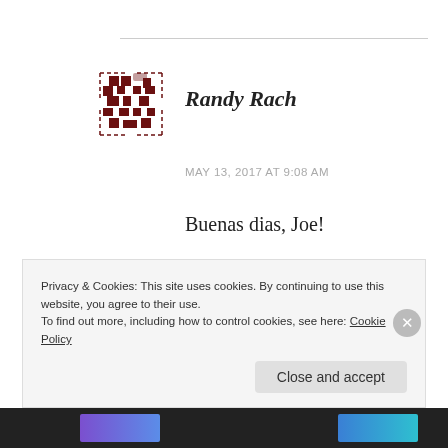[Figure (logo): Pixelated dark red/maroon logo icon resembling a QR code or grid symbol]
Randy Rach
MAY 13, 2017 AT 9:08 AM
Buenas dias, Joe!
In my previous message, I had intended to ask you to please wish Pepe “Happy Birthday” for us. Hope you both have a wonderful day!
Privacy & Cookies: This site uses cookies. By continuing to use this website, you agree to their use.
To find out more, including how to control cookies, see here: Cookie Policy
Close and accept